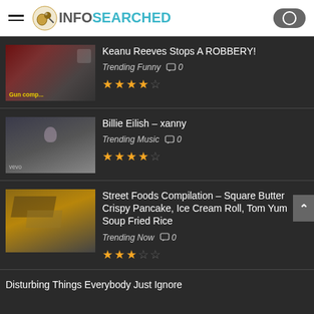INFOSEARCHED
Keanu Reeves Stops A ROBBERY! — Trending Funny  0 — 4 stars
Billie Eilish – xanny — Trending Music  0 — 3.5 stars
Street Foods Compilation – Square Butter Crispy Pancake, Ice Cream Roll, Tom Yum Soup Fried Rice — Trending Now  0 — 3 stars
Disturbing Things Everybody Just Ignore